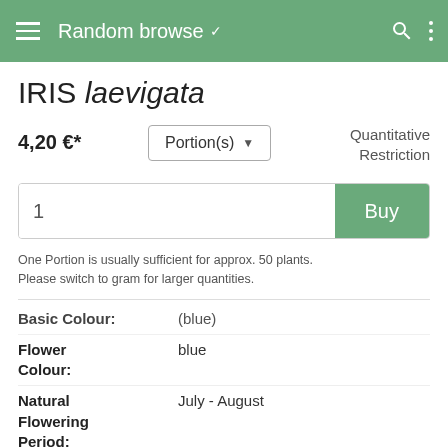Random browse
IRIS laevigata
4,20 €*   Portion(s)   Quantitative Restriction
1   Buy
One Portion is usually sufficient for approx. 50 plants.
Please switch to gram for larger quantities.
| Attribute | Value |
| --- | --- |
| Basic Colour: | (blue) |
| Flower Colour: | blue |
| Natural Flowering Period: | July - August |
| Winter Hardiness: | Z5 - Z8 |